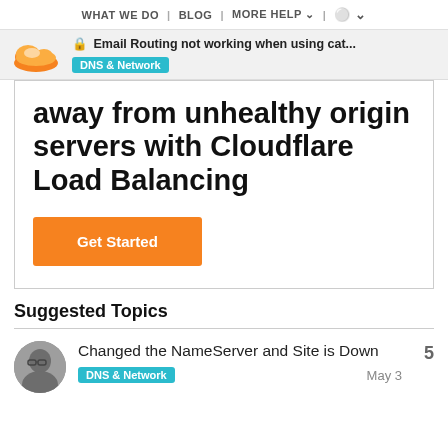WHAT WE DO | BLOG | MORE HELP v | globe v
Email Routing not working when using cat... | DNS & Network
away from unhealthy origin servers with Cloudflare Load Balancing
Get Started
Suggested Topics
Changed the NameServer and Site is Down | DNS & Network | May 3 | 5